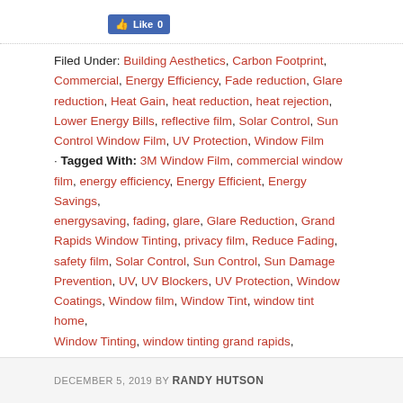[Figure (other): Facebook Like button showing 'Like 0']
Filed Under: Building Aesthetics, Carbon Footprint, Commercial, Energy Efficiency, Fade reduction, Glare reduction, Heat Gain, heat reduction, heat rejection, Lower Energy Bills, reflective film, Solar Control, Sun Control Window Film, UV Protection, Window Film · Tagged With: 3M Window Film, commercial window film, energy efficiency, Energy Efficient, Energy Savings, energysaving, fading, glare, Glare Reduction, Grand Rapids Window Tinting, privacy film, Reduce Fading, safety film, Solar Control, Sun Control, Sun Damage Prevention, UV, UV Blockers, UV Protection, Window Coatings, Window film, Window Tint, window tint home, Window Tinting, window tinting grand rapids, windowtint
DECEMBER 5, 2019 BY RANDY HUTSON